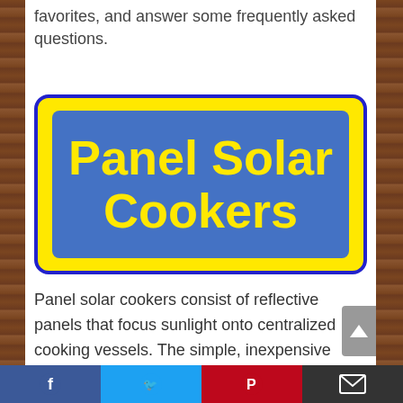favorites, and answer some frequently asked questions.
[Figure (illustration): Yellow-bordered blue rectangle sign with bold yellow text reading 'Panel Solar Cookers' on a blue background, all on a yellow outer border with rounded corners.]
Panel solar cookers consist of reflective panels that focus sunlight onto centralized cooking vessels. The simple, inexpensive mechanisms work best in warm climates where cold air and wind cannot contribute to heat loss. When the cooker is paired with
Facebook | Twitter | Pinterest | Email